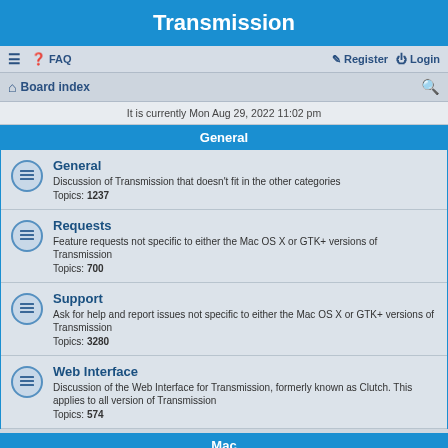Transmission
≡  FAQ    Register  Login
Board index
It is currently Mon Aug 29, 2022 11:02 pm
General
General
Discussion of Transmission that doesn't fit in the other categories
Topics: 1237
Requests
Feature requests not specific to either the Mac OS X or GTK+ versions of Transmission
Topics: 700
Support
Ask for help and report issues not specific to either the Mac OS X or GTK+ versions of Transmission
Topics: 3280
Web Interface
Discussion of the Web Interface for Transmission, formerly known as Clutch. This applies to all version of Transmission
Topics: 574
Mac